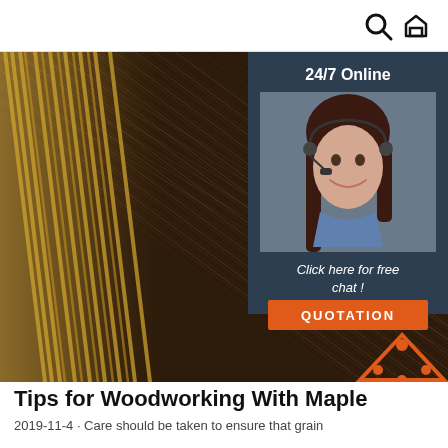search and home icons
[Figure (photo): Dark wood grain panel with striped texture running diagonally, with light straw/wood pieces visible on the left side. Overlaid with a 24/7 Online chat widget in the top-right corner showing a customer service representative with headset. A 'TOP' logo with orange text appears at the bottom-right of the image.]
Tips for Woodworking With Maple
2019-11-4  ·  Care should be taken to ensure that grain